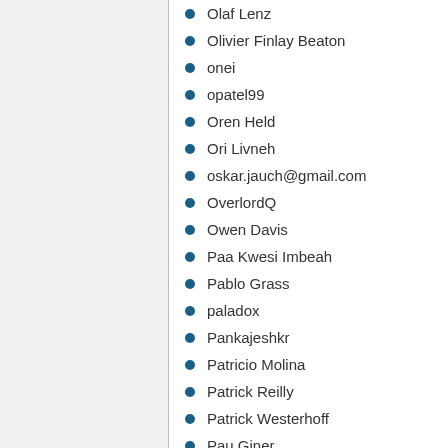Olaf Lenz
Olivier Finlay Beaton
onei
opatel99
Oren Held
Ori Livneh
oskar.jauch@gmail.com
OverlordQ
Owen Davis
Paa Kwesi Imbeah
Pablo Grass
paladox
Pankajeshkr
Patricio Molina
Patrick Reilly
Patrick Westerhoff
Pau Giner
Paul Copperman
Paul Oranje